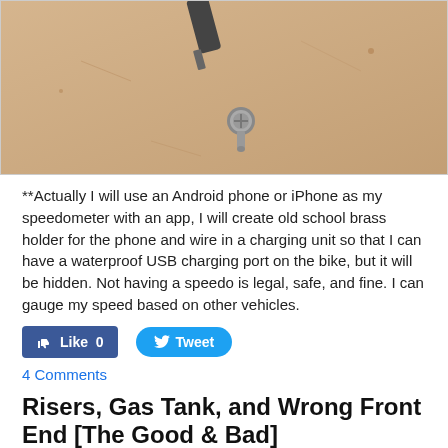[Figure (photo): Close-up photo of screws/bolts on a beige/tan surface, with a tool visible at the top]
**Actually I will use an Android phone or iPhone as my speedometer with an app, I will create old school brass holder for the phone and wire in a charging unit so that I can have a waterproof USB charging port on the bike, but it will be hidden. Not having a speedo is legal, safe, and fine. I can gauge my speed based on other vehicles.
[Figure (other): Facebook Like button showing 0 likes and Twitter Tweet button]
4 Comments
Risers, Gas Tank, and Wrong Front End [The Good & Bad]